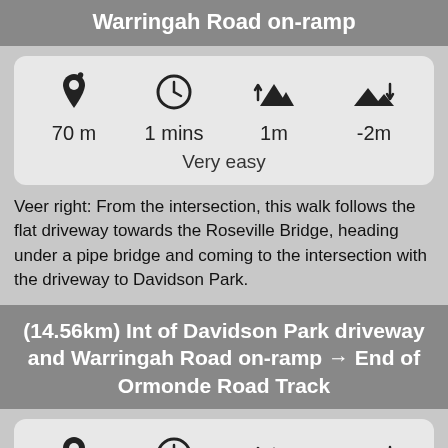Warringah Road on-ramp
[Figure (infographic): Stats card with icons and values: 70 m distance, 1 mins time, 1m elevation gain, -2m elevation loss. Difficulty: Very easy.]
Veer right: From the intersection, this walk follows the flat driveway towards the Roseville Bridge, heading under a pipe bridge and coming to the intersection with the driveway to Davidson Park.
(14.56km) Int of Davidson Park driveway and Warringah Road on-ramp → End of Ormonde Road Track
[Figure (infographic): Stats card with icons at bottom, partially visible.]